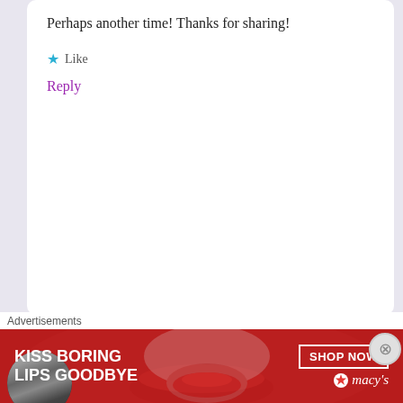Perhaps another time! Thanks for sharing!
★ Like
Reply
Lindsey
February 13, 2013 at 4:12 pm
I'm sure there will be plenty of re-releases for you to enjoy in the future! It seems to be a bit of a growing trend in the past year or so. Jurassic Park is
Advertisements
[Figure (photo): Advertisement banner: red background with a woman's face showing red lips, text 'KISS BORING LIPS GOODBYE' on the left, 'SHOP NOW' button and Macy's star logo on the right]